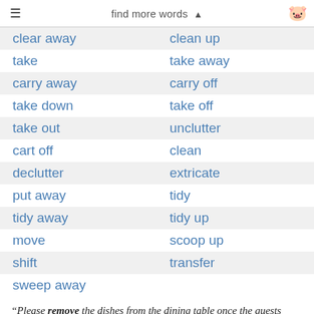find more words ▲
clear away | clean up
take | take away
carry away | carry off
take down | take off
take out | unclutter
cart off | clean
declutter | extricate
put away | tidy
tidy away | tidy up
move | scoop up
shift | transfer
sweep away
“Please remove the dishes from the dining table once the guests have left.”